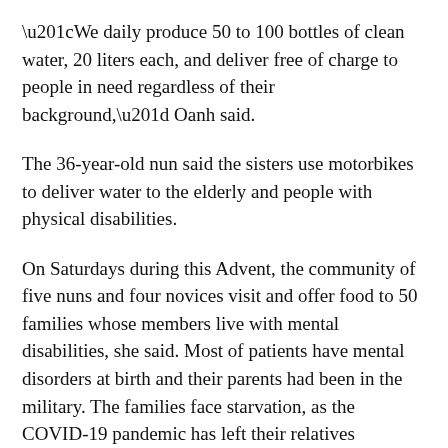“We daily produce 50 to 100 bottles of clean water, 20 liters each, and deliver free of charge to people in need regardless of their background,” Oanh said.
The 36-year-old nun said the sisters use motorbikes to deliver water to the elderly and people with physical disabilities.
On Saturdays during this Advent, the community of five nuns and four novices visit and offer food to 50 families whose members live with mental disabilities, she said. Most of patients have mental disorders at birth and their parents had been in the military. The families face starvation, as the COVID-19 pandemic has left their relatives unemployed for months and other charity groups could not offer them donations.
One particularly painful case involves a woman in her 70s who looks after her three adult children, who have mental disabilities.